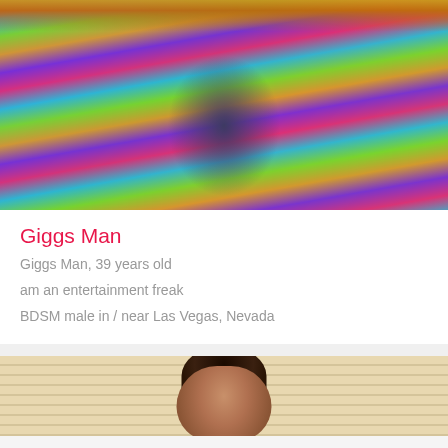[Figure (photo): Person wearing colorful Versace-style print outfit with gold chain necklace, Medusa face printed on garment, psychedelic multicolor patterns]
Giggs Man
Giggs Man, 39 years old
am an entertainment freak
BDSM male in / near Las Vegas, Nevada
[Figure (photo): Person with curly dark hair, partial face visible, light striped background]